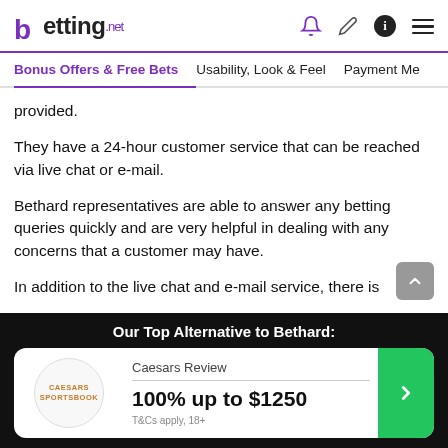betting.net
Bonus Offers & Free Bets | Usability, Look & Feel | Payment Me
provided.
They have a 24-hour customer service that can be reached via live chat or e-mail.
Bethard representatives are able to answer any betting queries quickly and are very helpful in dealing with any concerns that a customer may have.
In addition to the live chat and e-mail service, there is
Our Top Alternative to Bethard: Caesars Review 100% up to $1250 T&Cs apply, 18+